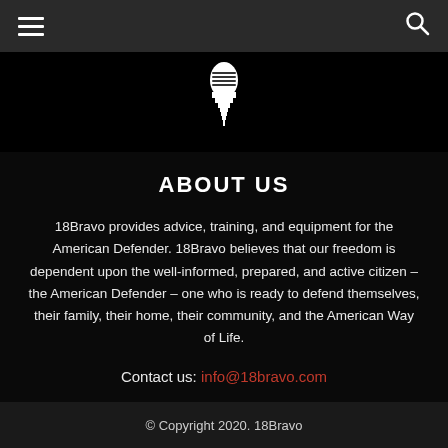☰  🔍
[Figure (logo): 18Bravo logo — a white spade/bullet-shaped emblem on black background]
ABOUT US
18Bravo provides advice, training, and equipment for the American Defender. 18Bravo believes that our freedom is dependent upon the well-informed, prepared, and active citizen – the American Defender – one who is ready to defend themselves, their family, their home, their community, and the American Way of Life.
Contact us: info@18bravo.com
© Copyright 2020. 18Bravo